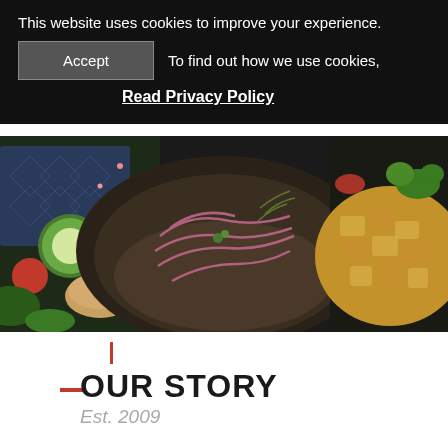This website uses cookies to improve your experience.
Accept   To find out how we use cookies,
Read Privacy Policy
[Figure (photo): Overhead shot of multiple dishes of food including a bowl with pickled red onions and lentils, a salad with cucumber and herbs, and a dish of roasted potatoes with parsley, all on a dark background with colorful spices and herbs.]
OUR STORY
Est. 2009